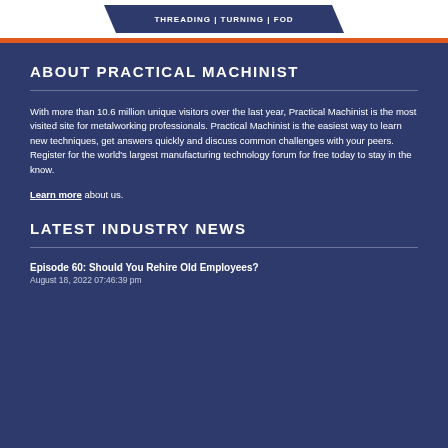[Figure (logo): Practical Machinist logo banner with text THREADING | TURNING | FOD on dark blue background with diagonal shape]
ABOUT PRACTICAL MACHINIST
With more than 10.6 million unique visitors over the last year, Practical Machinist is the most visited site for metalworking professionals. Practical Machinist is the easiest way to learn new techniques, get answers quickly and discuss common challenges with your peers. Register for the world's largest manufacturing technology forum for free today to stay in the know.
Learn more about us.
LATEST INDUSTRY NEWS
Episode 60: Should You Rehire Old Employees?
August 18, 2022 07:46:39 pm